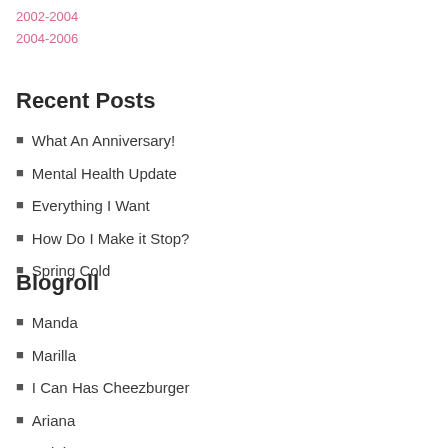2002-2004
2004-2006
Recent Posts
What An Anniversary!
Mental Health Update
Everything I Want
How Do I Make it Stop?
Spring Cold
Blogroll
Manda
Marilla
I Can Has Cheezburger
Ariana
Caleb